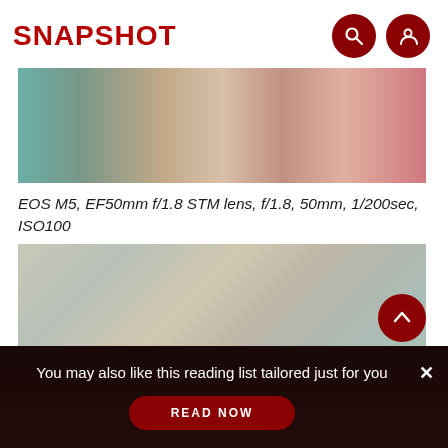SNAPSHOT
[Figure (photo): Close-up photo of hands arranging small round objects on a surface, with colorful items in the background]
EOS M5, EF50mm f/1.8 STM lens, f/1.8, 50mm, 1/200sec, ISO100
[Figure (photo): An elderly woman sitting among stacked boxes and papers in what appears to be a market or storage area]
You may also like this reading list tailored just for you
READ NOW